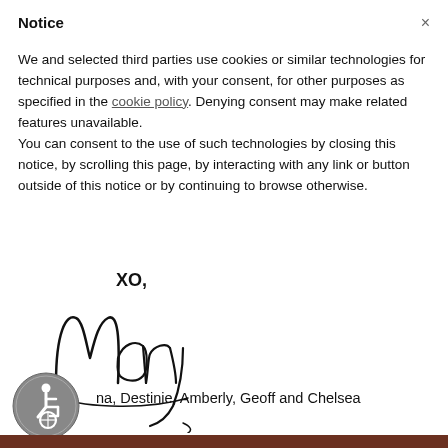Notice
We and selected third parties use cookies or similar technologies for technical purposes and, with your consent, for other purposes as specified in the cookie policy. Denying consent may make related features unavailable.
You can consent to the use of such technologies by closing this notice, by scrolling this page, by interacting with any link or button outside of this notice or by continuing to browse otherwise.
[Figure (illustration): Handwritten cursive signature reading 'XO, Mary' in black ink on white background]
na, Destinie, Amberly, Geoff and Chelsea
[Figure (logo): Accessibility icon — circular grey badge with wheelchair user symbol]